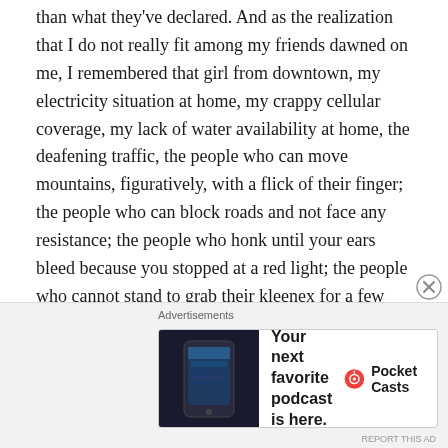than what they've declared. And as the realization that I do not really fit among my friends dawned on me, I remembered that girl from downtown, my electricity situation at home, my crappy cellular coverage, my lack of water availability at home, the deafening traffic, the people who can move mountains, figuratively, with a flick of their finger; the people who can block roads and not face any resistance; the people who honk until your ears bleed because you stopped at a red light; the people who cannot stand to grab their kleenex for a few minutes so they throw it outside their cars without caring; the people who couldn't give a rat's ass about our national heritage… And the list goes on and on.
[Figure (other): Pocket Casts advertisement banner: 'Your next favorite podcast is here.' with app screenshot and Pocket Casts logo]